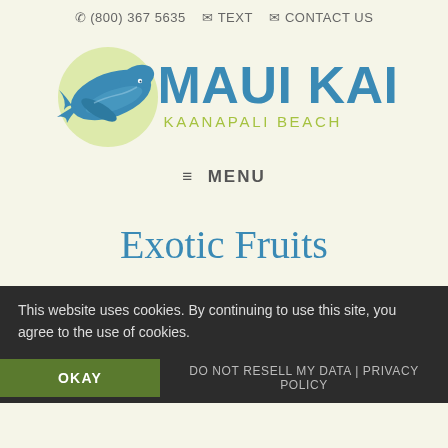✆ (800) 367 5635  ✉ TEXT  ✉ CONTACT US
[Figure (logo): Maui Kai Kaanapali Beach logo with blue humpback whale on a light green circular background, with MAUI KAI in large blue bold letters and KAANAPALI BEACH in smaller green spaced letters]
≡ MENU
Exotic Fruits
This website uses cookies. By continuing to use this site, you agree to the use of cookies.
OKAY  DO NOT RESELL MY DATA | PRIVACY POLICY